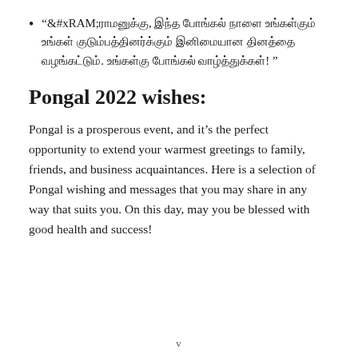“ராமனுக்கு, இந்த பொங்கல் நாளை உங்கள்கும் உங்கள் குடும்பத்தினர்க்கும் இனிமையான தினத்தை வழங்கட்டும். உங்கள்கு பொங்கல் வாழ்த்துக்கள்! ”
Pongal 2022 wishes:
Pongal is a prosperous event, and it’s the perfect opportunity to extend your warmest greetings to family, friends, and business acquaintances. Here is a selection of Pongal wishing and messages that you may share in any way that suits you. On this day, may you be blessed with good health and success!
v